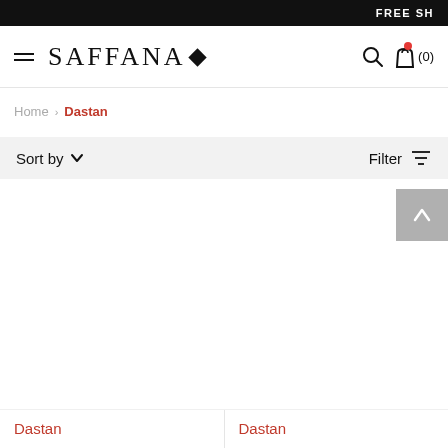FREE SH
[Figure (logo): SAFFANA logo with diamond symbol, hamburger menu icon on left, search and bag icons on right with (0) count]
Home > Dastan
Sort by  ∨    Filter
Dastan
Dastan